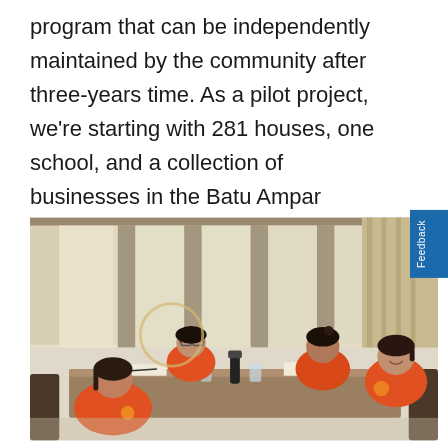program that can be independently maintained by the community after three-years time. As a pilot project, we're starting with 281 houses, one school, and a collection of businesses in the Batu Ampar neighborhood of Pejarakan Village.
[Figure (photo): Several people in orange shirts sitting around a table in a meeting room, with large windows in the background letting in natural light. Documents and bottles on the table.]